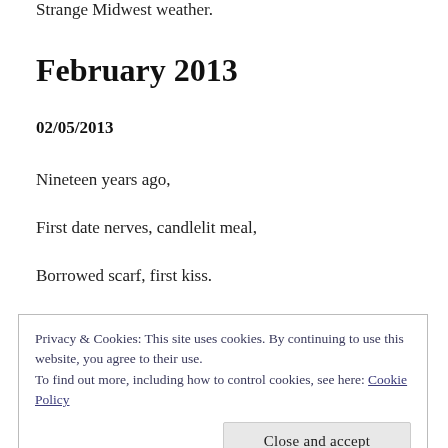Strange Midwest weather.
February 2013
02/05/2013
Nineteen years ago,
First date nerves, candlelit meal,
Borrowed scarf, first kiss.
Privacy & Cookies: This site uses cookies. By continuing to use this website, you agree to their use.
To find out more, including how to control cookies, see here: Cookie Policy
Close and accept